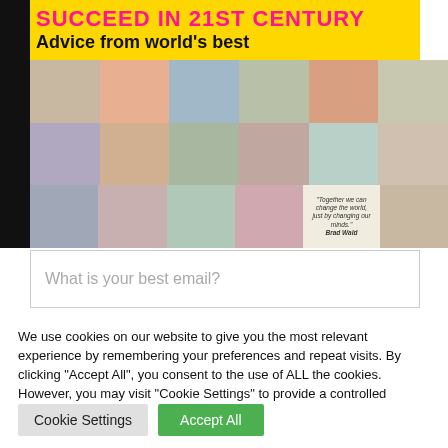[Figure (photo): Collage of portrait photos of various people with a yellow banner at top reading 'SUCCEED IN 21ST CENTURY / Advice from world's best', followed by an email input field placeholder 'What is your best email?']
We use cookies on our website to give you the most relevant experience by remembering your preferences and repeat visits. By clicking "Accept All", you consent to the use of ALL the cookies. However, you may visit "Cookie Settings" to provide a controlled consent.
Cookie Settings
Accept All